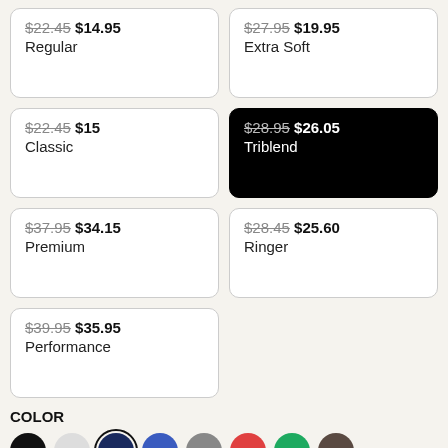$22.45 $14.95 Regular
$27.95 $19.95 Extra Soft
$22.45 $15 Classic
$28.95 $26.05 Triblend (selected)
$37.95 $34.15 Premium
$28.45 $25.60 Ringer
$39.95 $35.95 Performance
COLOR
[Figure (infographic): Color swatches: black, light gray, navy (selected with ring), blue, gray, red, green, brown]
S
M
L
XL
2XL